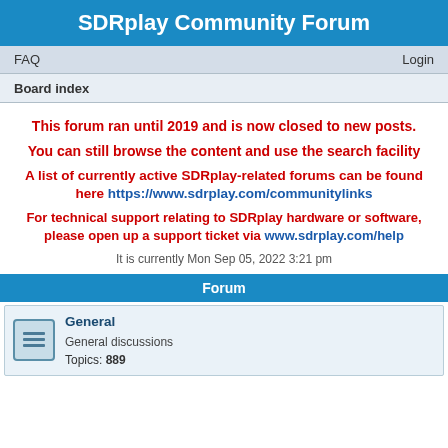SDRplay Community Forum
FAQ    Login
Board index
This forum ran until 2019 and is now closed to new posts.
You can still browse the content and use the search facility
A list of currently active SDRplay-related forums can be found here https://www.sdrplay.com/communitylinks
For technical support relating to SDRplay hardware or software, please open up a support ticket via www.sdrplay.com/help
It is currently Mon Sep 05, 2022 3:21 pm
Forum
General
General discussions
Topics: 889